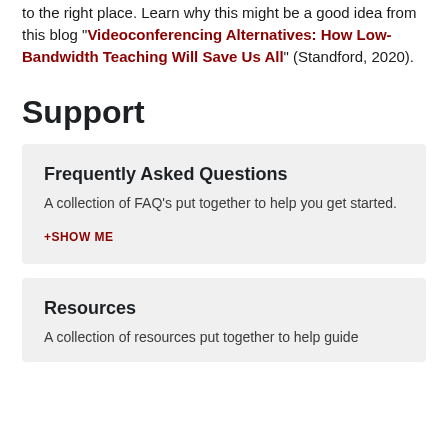to the right place. Learn why this might be a good idea from this blog "Videoconferencing Alternatives: How Low-Bandwidth Teaching Will Save Us All" (Standford, 2020).
Support
Frequently Asked Questions
A collection of FAQ's put together to help you get started.
+SHOW ME
Resources
A collection of resources put together to help guide